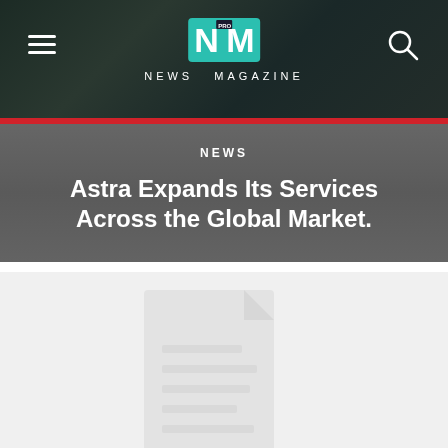NEWS MAGAZINE
NEWS
Astra Expands Its Services Across the Global Market.
[Figure (illustration): Light gray document/file placeholder icon on light gray background]